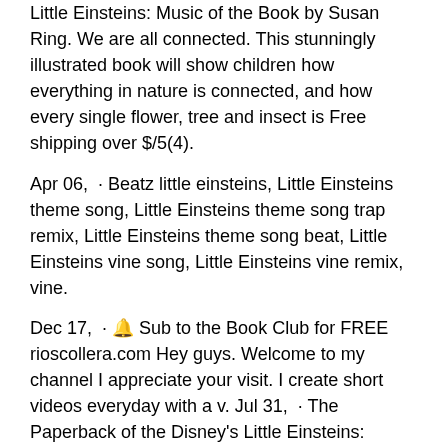Little Einsteins: Music of the Book by Susan Ring. We are all connected. This stunningly illustrated book will show children how everything in nature is connected, and how every single flower, tree and insect is Free shipping over $/5(4).
Apr 06,  · Beatz little einsteins, Little Einsteins theme song, Little Einsteins theme song trap remix, Little Einsteins theme song beat, Little Einsteins vine song, Little Einsteins vine remix, vine.
Dec 17,  · 🔔 Sub to the Book Club for FREE rioscollera.com Hey guys. Welcome to my channel I appreciate your visit. I create short videos everyday with a v. Jul 31,  · The Paperback of the Disney's Little Einsteins: Annie's Solo Mission by Disney Book Group, Marcy Kelman, Disney Storybook Art Team, Aram Song | at Blast off with the Little Einsteins on these new fun-filled all-new adventures.
Leo, June, Quincy, Annie and Rocket areback in a series of five new paperback missions involving pirates, knights Pages: Explore our list of Little Einsteins->Disney->Children's fiction Books at Barnes & Noble®. Receive FREE shipping with your Barnes & Noble Membership.